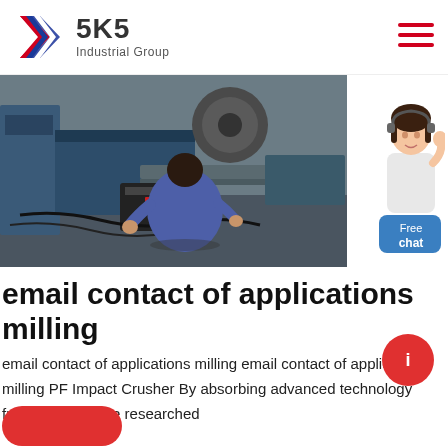SKS Industrial Group
[Figure (photo): Worker kneeling and working on industrial machinery in a factory setting with heavy equipment and cables on the floor]
[Figure (illustration): Customer service avatar with Free chat button]
email contact of applications milling
email contact of applications milling email contact of applications milling PF Impact Crusher By absorbing advanced technology from the world we researched